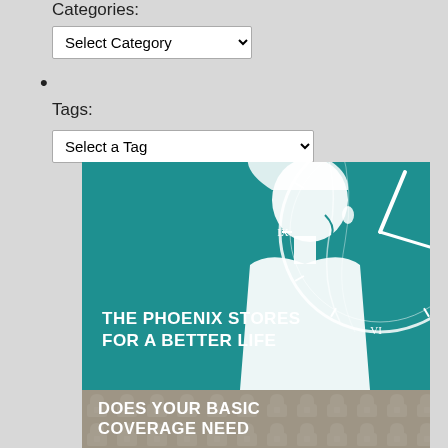Categories:
Select Category (dropdown)
• (bullet point)
Tags:
Select a Tag (dropdown)
[Figure (illustration): Insurance promotional image with teal background showing a white silhouette of a woman's profile overlaid with a clock face illustration. Text reads 'THE PHOENIX STORES FOR A BETTER LIFE'. Below is a gray/taupe banner with text 'DOES YOUR BASIC COVERAGE NEED' on a decorative patterned background.]